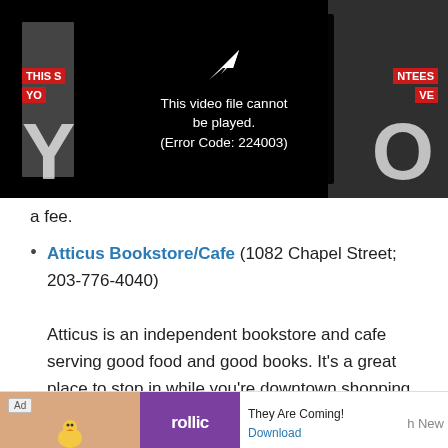[Figure (screenshot): Video player showing error: 'This video file cannot be played. (Error Code: 224003)' with play icon arrow on black background. Partially visible text banners on left read 'THIS' and 'YO', on right 'NTEES' and 'VE'. Large letters Y and O visible.]
a fee.
Atticus Bookstore/Cafe (1082 Chapel Street; 203-776-4040)

Atticus is an independent bookstore and cafe serving good food and good books. It’s a great place to stop in while you’re downtown shopping for a delicious bowl of soup and a sandwich. It’s
[Figure (screenshot): Advertisement bar at bottom: Ad label, left image with bird logo on tan background, purple box with 'rollic' text, right side showing 'They Are Coming!' and 'Download' link, partial text 'als... h New']